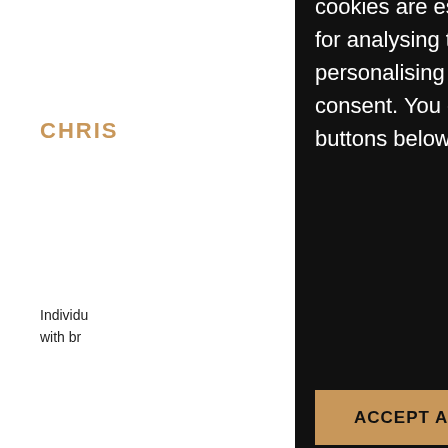CHRIS
Individu... with br...
CHRIS
A warm... pie ice c... honeyc... sauce.
cookies are essential for the website to function. Other cookies are used for analysing the performance of the site, gaining insights and personalising adverts to your interests – we won't set these without your consent. You can accept all cookies or set your own preferences using the buttons below.
ACCEPT ALL
SET PREFERENCES
REJECT ALL